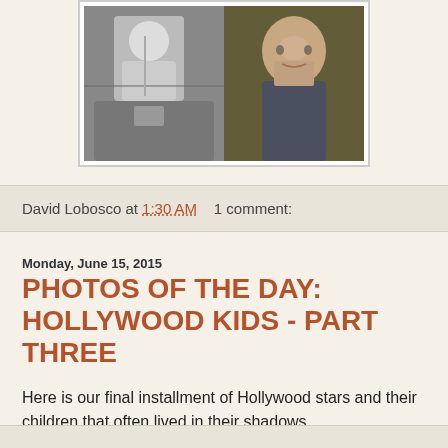[Figure (photo): Two photos side by side in a white-bordered frame: left side is a black-and-white photo of a young person, right side is a color photo of an elderly man]
David Lobosco at 1:30 AM    1 comment:
Monday, June 15, 2015
PHOTOS OF THE DAY: HOLLYWOOD KIDS - PART THREE
Here is our final installment of Hollywood stars and their children that often lived in their shadows...